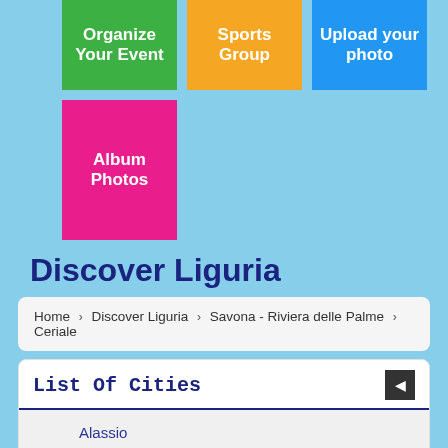[Figure (screenshot): Navigation buttons: Organize Your Event (green), Sports Group (orange), Upload your photo (blue), Album Photos (pink)]
Discover Liguria
Home > Discover Liguria > Savona - Riviera delle Palme > Ceriale
List Of Cities
Alassio
Albenga
Albisola Superiore
Albissola Marina
Altare
Andora